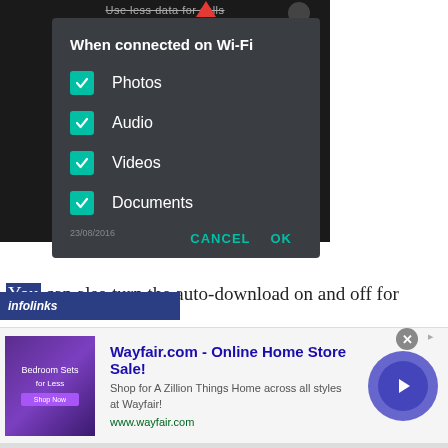[Figure (screenshot): Android dialog box on dark background: 'When connected on Wi-Fi' with checked checkboxes for Photos, Audio, Videos, Documents. CANCEL and OK buttons at bottom.]
You can also turn the auto-download on and off for
[Figure (screenshot): Advertisement banner: Wayfair.com - Online Home Store Sale! Shop for A Zillion Things Home across all styles at Wayfair! www.wayfair.com. Shows bedroom furniture image and a play button.]